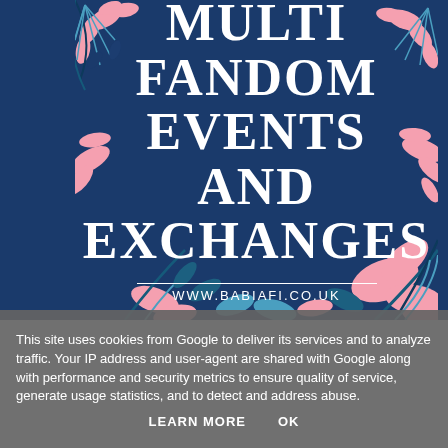[Figure (illustration): Dark navy blue banner with decorative tropical floral/leaf illustrations in pink, light blue, and dark teal. Text reads MULTI FANDOM EVENTS AND EXCHANGES in large bold white serif font, with WWW.BABIAFI.CO.UK below a horizontal rule.]
This site uses cookies from Google to deliver its services and to analyze traffic. Your IP address and user-agent are shared with Google along with performance and security metrics to ensure quality of service, generate usage statistics, and to detect and address abuse.
LEARN MORE    OK